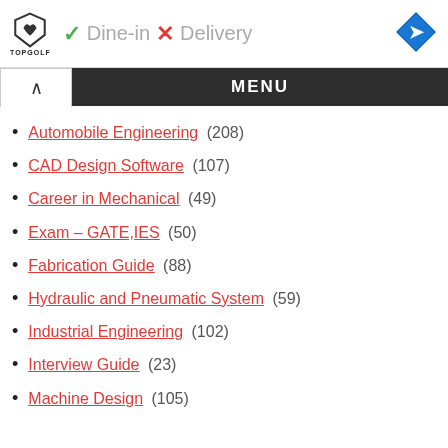[Figure (screenshot): Top ad banner with Topgolf logo, green checkmark Dine-in, red X Delivery text, and blue navigation diamond icon]
MENU
Automobile Engineering (208)
CAD Design Software (107)
Career in Mechanical (49)
Exam – GATE,IES (50)
Fabrication Guide (88)
Hydraulic and Pneumatic System (59)
Industrial Engineering (102)
Interview Guide (23)
Machine Design (105)